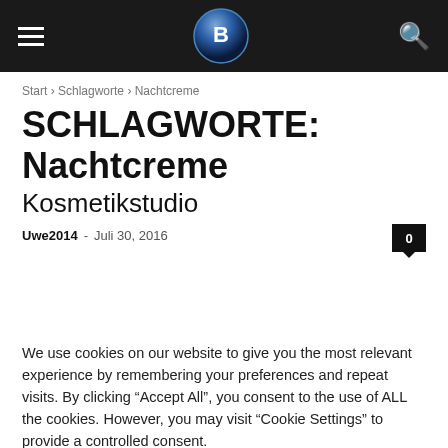seo media group — navigation header with logo
Start › Schlagworte › Nachtcreme
SCHLAGWORTE: Nachtcreme
Kosmetikstudio
Uwe2014 – Juli 30, 2016
[Figure (screenshot): Article thumbnail image with caption bar showing 'seo media group' text in white on black background]
We use cookies on our website to give you the most relevant experience by remembering your preferences and repeat visits. By clicking "Accept All", you consent to the use of ALL the cookies. However, you may visit "Cookie Settings" to provide a controlled consent.
Cookie Settings  Accept All  Translate »